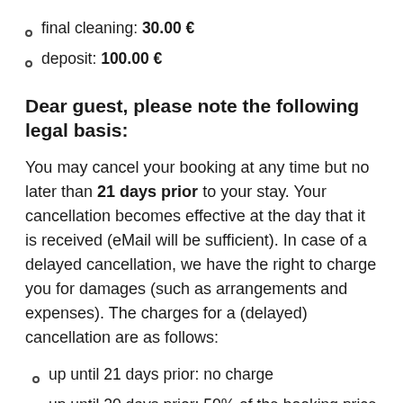final cleaning: 30.00 €
deposit: 100.00 €
Dear guest, please note the following legal basis:
You may cancel your booking at any time but no later than 21 days prior to your stay. Your cancellation becomes effective at the day that it is received (eMail will be sufficient). In case of a delayed cancellation, we have the right to charge you for damages (such as arrangements and expenses). The charges for a (delayed) cancellation are as follows:
up until 21 days prior: no charge
up until 20 days prior: 50% of the booking price
up until 14 days prior: 75% of the booking price